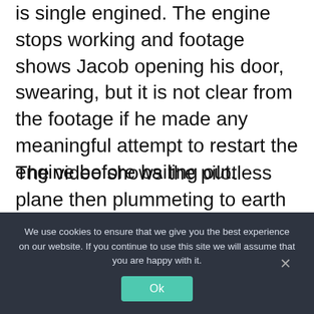is single engined. The engine stops working and footage shows Jacob opening his door, swearing, but it is not clear from the footage if he made any meaningful attempt to restart the engine before bailing out.
The video shows the pilotless plane then plummeting to earth before crashing into the wilderness, which was shown from multiple cameras attached to the airplane.
Jacob sustained minor cuts and is filmed walking back to his crashed airplane, and
We use cookies to ensure that we give you the best experience on our website. If you continue to use this site we will assume that you are happy with it.